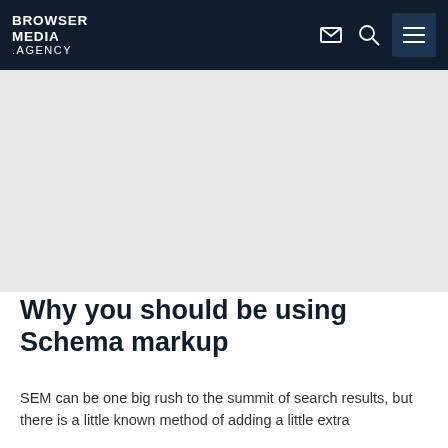BROWSER MEDIA .AGENCY
[Figure (illustration): Large white/light grey hero image area below navigation bar]
Why you should be using Schema markup
SEM can be one big rush to the summit of search results, but there is a little known method of adding a little extra